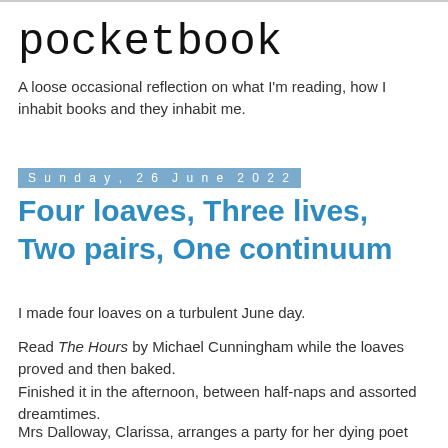pocketbook
A loose occasional reflection on what I'm reading, how I inhabit books and they inhabit me.
Sunday, 26 June 2022
Four loaves, Three lives, Two pairs, One continuum
I made four loaves on a turbulent June day.
Read The Hours by Michael Cunningham while the loaves proved and then baked.
Finished it in the afternoon, between half-naps and assorted dreamtimes.
Mrs Dalloway, Clarissa, arranges a party for her dying poet friend. 1990s